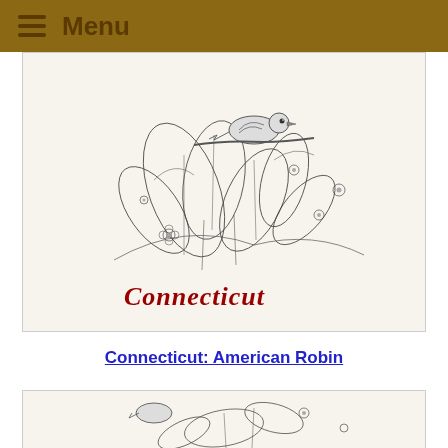Menu
[Figure (illustration): Black and white pencil illustration of Connecticut state symbols — a bird perched on a branch surrounded by flowers and foliage, with the word 'Connecticut' written in red cursive script at the bottom.]
Connecticut: American Robin
[Figure (illustration): Black and white pencil illustration of a bird (American Robin) among flowers and foliage — partial view cropped at page bottom.]